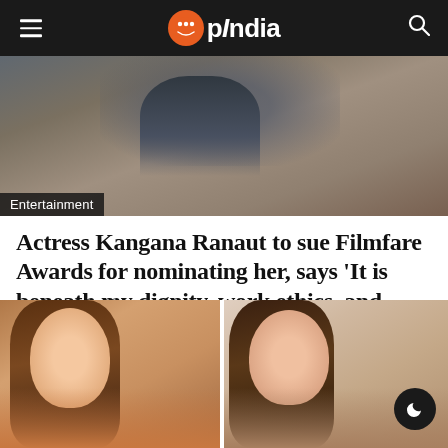OpIndia
[Figure (photo): Hero image showing partial face/neck of a person, with Entertainment category tag overlay]
Actress Kangana Ranaut to sue Filmfare Awards for nominating her, says 'It is beneath my dignity, work ethics, and value system'
OpIndia Staff - 21 August, 2022
[Figure (photo): Two side-by-side photos of women, likely related to the article about Kangana Ranaut and Filmfare Awards]